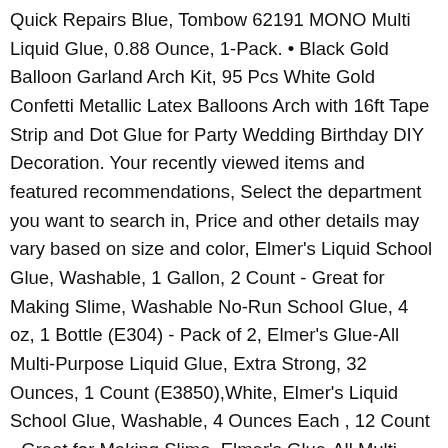Quick Repairs Blue, Tombow 62191 MONO Multi Liquid Glue, 0.88 Ounce, 1-Pack. • Black Gold Balloon Garland Arch Kit, 95 Pcs White Gold Confetti Metallic Latex Balloons Arch with 16ft Tape Strip and Dot Glue for Party Wedding Birthday DIY Decoration. Your recently viewed items and featured recommendations, Select the department you want to search in, Price and other details may vary based on size and color, Elmer's Liquid School Glue, Washable, 1 Gallon, 2 Count - Great for Making Slime, Washable No-Run School Glue, 4 oz, 1 Bottle (E304) - Pack of 2, Elmer's Glue-All Multi-Purpose Liquid Glue, Extra Strong, 32 Ounces, 1 Count (E3850),White, Elmer's Liquid School Glue, Washable, 4 Ounces Each , 12 Count - Great for Making Slime, Elmer's Glue-All Multi-Purpose Liquid Glue, Extra Strong, 1 Gallon, 1 Count - Great For Making Slime, Elmer's Washable No Run School Glue, 4 Ounces, White and Dries Clear, AmazonBasics All Purpose Washable School Liquid Glue, Great for Making Slime, 1 Gallon Bottle, 2-Pack, Elmer's Liquid School Glue, White, Washable, 4 Ounces - Great for